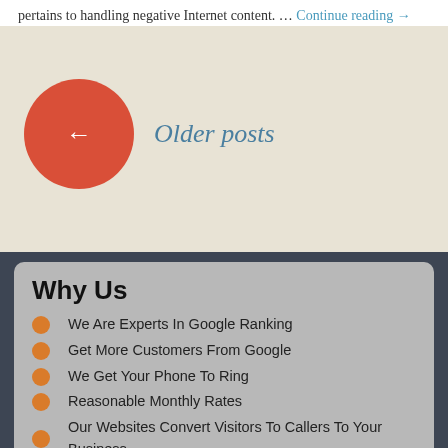pertains to handling negative Internet content. … Continue reading →
← Older posts
Why Us
We Are Experts In Google Ranking
Get More Customers From Google
We Get Your Phone To Ring
Reasonable Monthly Rates
Our Websites Convert Visitors To Callers To Your Business
Mobile Friendly Design - Over 50% Use Mobile